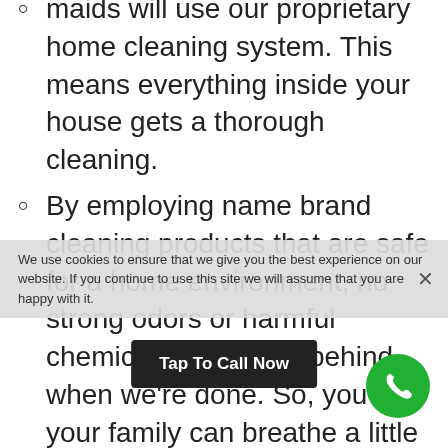maids will use our proprietary home cleaning system. This means everything inside your house gets a thorough cleaning.
By employing name brand cleaning products that are safe for a home environment, no strong odors or harmful chemicals will be left behind when we're done. So, you and your family can breathe a little easier. It's important to let us know if anybody in the house has any allergies to cleaning products. Some of the brands we may use include (but not limited to), Lysol, Pinesol, Swiffer, Shout-It-Out, and Glade
The MAID-IT-HOME Maids have commercial house cleaning equipment that includes back-pack vacuums with HEPA filters. They are capable of catching up to 99% of all dust and allergens. This means the air in your home will be cleaner and we're done, but your carpets and upholstery will be
We use cookies to ensure that we give you the best experience on our website. If you continue to use this site we will assume that you are happy with it.
Tap To Call Now